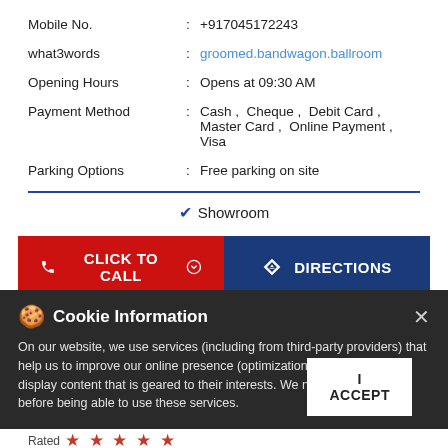Mobile No. : +917045172243
what3words : groomed.bandwagon.ballroom
Opening Hours : Opens at 09:30 AM
Payment Method : Cash, Cheque, Debit Card, Master Card, Online Payment, Visa
Parking Options : Free parking on site
✔ Showroom
[Figure (other): CLICK TO CALL and DIRECTIONS buttons]
Cookie Information
On our website, we use services (including from third-party providers) that help us to improve our online presence (optimization of website) and to display content that is geared to their interests. We need your consent before being able to use these services.
ARUN KUMAR
Posted on : 22-05-2022
Rated ★★★★★